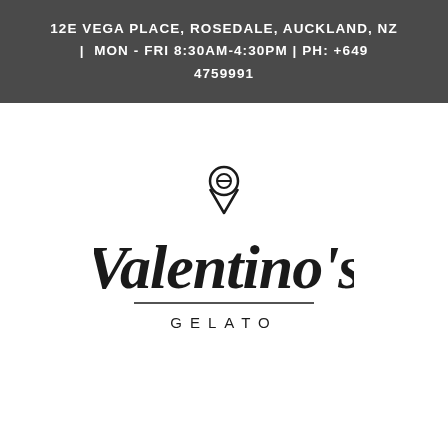12E VEGA PLACE, ROSEDALE, AUCKLAND, NZ | MON - FRI 8:30AM-4:30PM | PH: +649 4759991
[Figure (logo): Valentino's Gelato logo: a location pin icon with a gelato scoop inside, above stylized script text reading Valentino's with GELATO in spaced uppercase letters below]